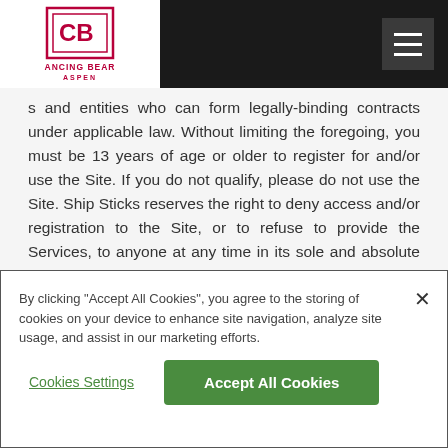Dancing Bear Aspen - navigation header
s and entities who can form legally-binding contracts under applicable law. Without limiting the foregoing, you must be 13 years of age or older to register for and/or use the Site. If you do not qualify, please do not use the Site. Ship Sticks reserves the right to deny access and/or registration to the Site, or to refuse to provide the Services, to anyone at any time in its sole and absolute discretion.
User Obligations
By clicking "Accept All Cookies", you agree to the storing of cookies on your device to enhance site navigation, analyze site usage, and assist in our marketing efforts.